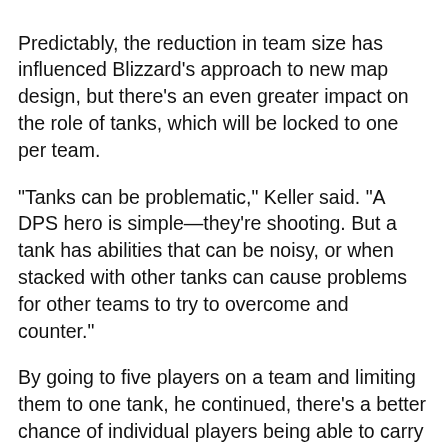Predictably, the reduction in team size has influenced Blizzard's approach to new map design, but there's an even greater impact on the role of tanks, which will be locked to one per team. "Tanks can be problematic," Keller said. "A DPS hero is simple—they're shooting. But a tank has abilities that can be noisy, or when stacked with other tanks can cause problems for other teams to try to overcome and counter." By going to five players on a team and limiting them to one tank, he continued, there's a better chance of individual players being able to carry teams, because each player "has the opportunity to have a larger individual impact on their own team."     Further experimentation required.All new abilities updates for Winston's Tesla Cannon and Mei's Endothermic Blaster coming to Overwatch 2 Tanks will also undergo some individual changes for Overwatch 2, aimed at making them "a lot more